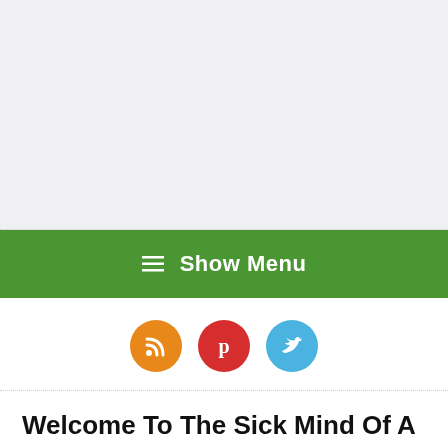[Figure (other): Gray advertisement placeholder area at the top of the page]
≡ Show Menu
[Figure (other): Three circular social media icons: RSS (orange), Pinterest (red), Twitter (blue)]
Welcome To The Sick Mind Of A Sane Person: Deconstructing Racism And White Supremacy